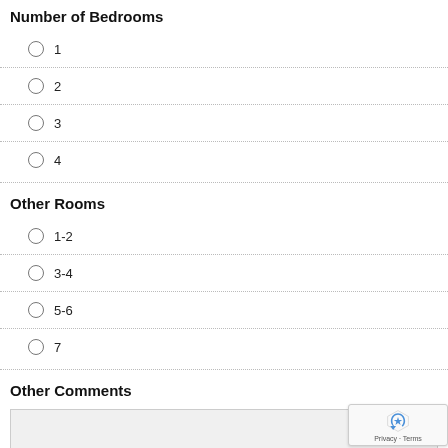Number of Bedrooms
1
2
3
4
Other Rooms
1-2
3-4
5-6
7
Other Comments
[text area input field]